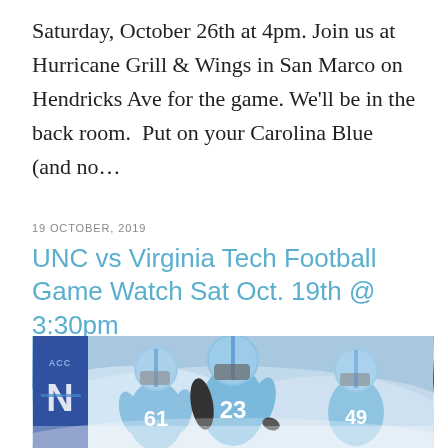Saturday, October 26th at 4pm. Join us at Hurricane Grill & Wings in San Marco on Hendricks Ave for the game. We'll be in the back room.  Put on your Carolina Blue (and no...
19 OCTOBER, 2019
UNC vs Virginia Tech Football Game Watch Sat Oct. 19th @ 3:30pm
[Figure (photo): UNC Tar Heels football players in light blue uniforms and helmets running onto the field through smoke. Player numbers visible include 61, 23, and 49.]